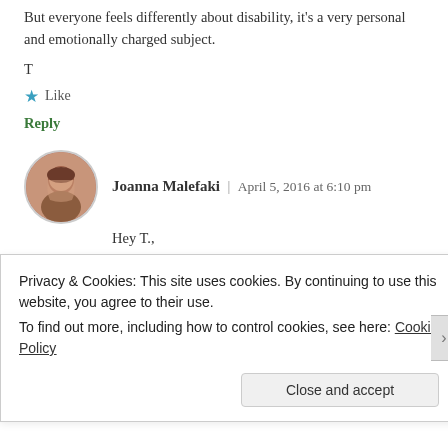But everyone feels differently about disability, it's a very personal and emotionally charged subject.
T
★ Like
Reply
Joanna Malefaki | April 5, 2016 at 6:10 pm
Hey T.,
Privacy & Cookies: This site uses cookies. By continuing to use this website, you agree to their use.
To find out more, including how to control cookies, see here: Cookie Policy
Close and accept